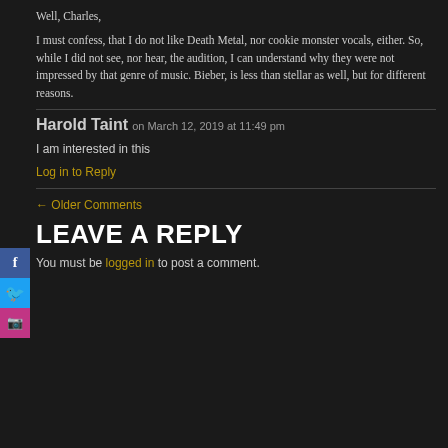Well, Charles,

I must confess, that I do not like Death Metal, nor cookie monster vocals, either. So, while I did not see, nor hear, the audition, I can understand why they were not impressed by that genre of music. Bieber, is less than stellar as well, but for different reasons.
Harold Taint on March 12, 2019 at 11:49 pm
I am interested in this
Log in to Reply
← Older Comments
LEAVE A REPLY
You must be logged in to post a comment.